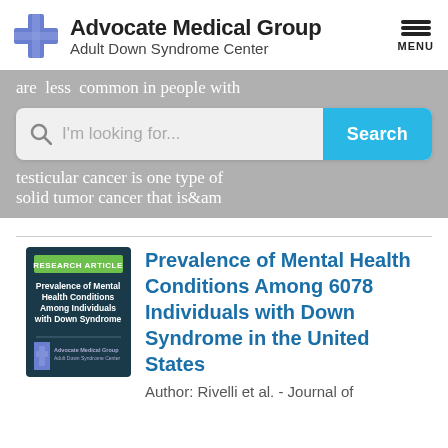[Figure (logo): Advocate Medical Group Adult Down Syndrome Center logo with blue cross]
are less common in people with
I'm looking for...
Search
testicular cancer is one type of solid tumor cancer that is&am
[Figure (photo): Research article thumbnail: Prevalence of Mental Health Conditions Among Individuals with Down Syndrome, Advocate Medical Group]
Prevalence of Mental Health Conditions Among 6078 Individuals with Down Syndrome in the United States
Author: Rivelli et al. - Journal of